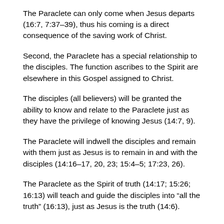The Paraclete can only come when Jesus departs (16:7, 7:37–39), thus his coming is a direct consequence of the saving work of Christ.
Second, the Paraclete has a special relationship to the disciples. The function ascribes to the Spirit are elsewhere in this Gospel assigned to Christ.
The disciples (all believers) will be granted the ability to know and relate to the Paraclete just as they have the privilege of knowing Jesus (14:7, 9).
The Paraclete will indwell the disciples and remain with them just as Jesus is to remain in and with the disciples (14:16–17, 20, 23; 15:4–5; 17:23, 26).
The Paraclete as the Spirit of truth (14:17; 15:26; 16:13) will teach and guide the disciples into “all the truth” (16:13), just as Jesus is the truth (14:6).
The Spirit bears witness to Christ (15:26) and glorifies Christ (16:14), just as it is Christ from whom the